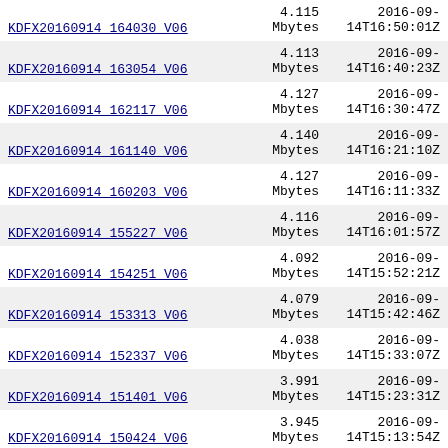| Name | Size | Date |
| --- | --- | --- |
| KDFX20160914_164030_V06 | 4.115 Mbytes | 2016-09-14T16:50:01Z |
| KDFX20160914_163054_V06 | 4.113 Mbytes | 2016-09-14T16:40:23Z |
| KDFX20160914_162117_V06 | 4.127 Mbytes | 2016-09-14T16:30:47Z |
| KDFX20160914_161140_V06 | 4.140 Mbytes | 2016-09-14T16:21:10Z |
| KDFX20160914_160203_V06 | 4.127 Mbytes | 2016-09-14T16:11:33Z |
| KDFX20160914_155227_V06 | 4.116 Mbytes | 2016-09-14T16:01:57Z |
| KDFX20160914_154251_V06 | 4.092 Mbytes | 2016-09-14T15:52:21Z |
| KDFX20160914_153313_V06 | 4.079 Mbytes | 2016-09-14T15:42:46Z |
| KDFX20160914_152337_V06 | 4.038 Mbytes | 2016-09-14T15:33:07Z |
| KDFX20160914_151401_V06 | 3.991 Mbytes | 2016-09-14T15:23:31Z |
| KDFX20160914_150424_V06 | 3.945 Mbytes | 2016-09-14T15:13:54Z |
| KDFX20160914_??? | 3.908 Mbytes | 2016-09-14T15:0?:??Z |